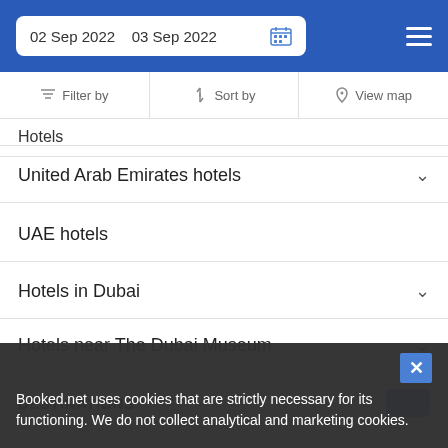02 Sep 2022   03 Sep 2022
Filter by | Sort by | View map
Hotels
United Arab Emirates hotels
UAE hotels
Hotels in Dubai
Hotels near The Dubai Museum
DESTINATIONS
Booked.net uses cookies that are strictly necessary for its functioning. We do not collect analytical and marketing cookies.